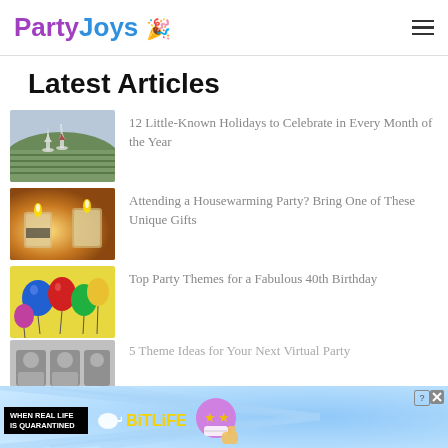PartyJoys
Latest Articles
[Figure (photo): Two wine glasses in a vineyard field]
12 Little-Known Holidays to Celebrate in Every Month of the Year
[Figure (photo): Lit candles in glass jar on warm background]
Attending a Housewarming Party? Bring One of These Unique Gifts
[Figure (photo): Colorful balloons bouquet]
Top Party Themes for a Fabulous 40th Birthday
[Figure (photo): People on video call for virtual party]
5 Theme Ideas for Your Next Virtual Party
[Figure (infographic): BitLife game advertisement banner: WHEN REAL LIFE IS QUARANTINED with game character emoji]